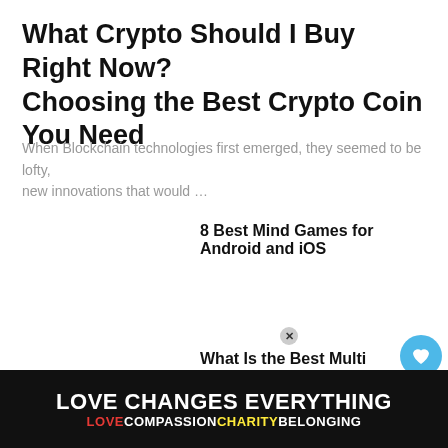What Crypto Should I Buy Right Now? Choosing the Best Crypto Coin You Need
When Blockchain technologies first emerged, they seemed to be lofty, new innovations that would …
8 Best Mind Games for Android and iOS
What Is the Best Multi Channel Home Theater System? (2022)
Dolby Cinema vs IMAX — Which  Theater Experience?
[Figure (infographic): LOVE CHANGES EVERYTHING rainbow ad banner with LOVE COMPASSION CHARITY BELONGING text]
[Figure (infographic): WHAT'S NEXT arrow with Batman Animated... thumbnail and text]
[Figure (infographic): Heart/like icon button in blue circle showing 1, and pink scroll-to-top arrow button]